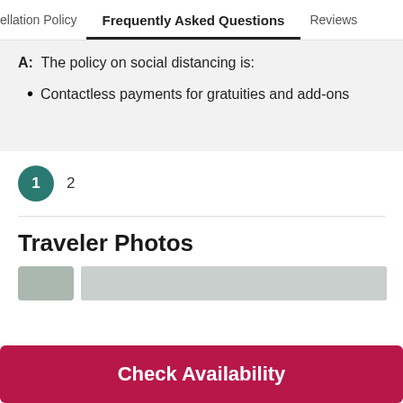ellation Policy	Frequently Asked Questions	Reviews
A:  The policy on social distancing is:
Contactless payments for gratuities and add-ons
1  2
Traveler Photos
[Figure (photo): Partial traveler photo strip at bottom of page]
Check Availability